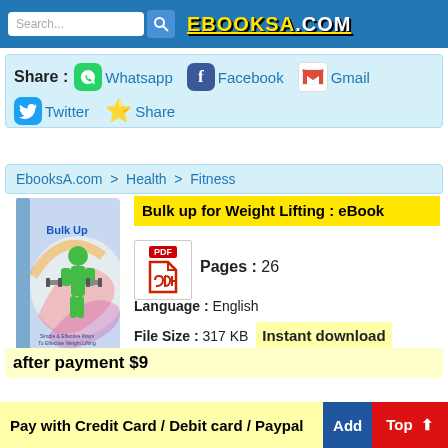EBOOKSA.COM
Share : Whatsapp  Facebook  Gmail  Twitter  Share
EbooksA.com > Health > Fitness
[Figure (illustration): Book cover for 'Bulk Up' showing a green muscular man lifting weights with colorful swirling design]
Bulk up for Weight Lifting : eBook
Pages : 26
Language : English
File Size : 317 KB  Instant download
after payment $9
Pay with Credit Card / Debit card / Paypal